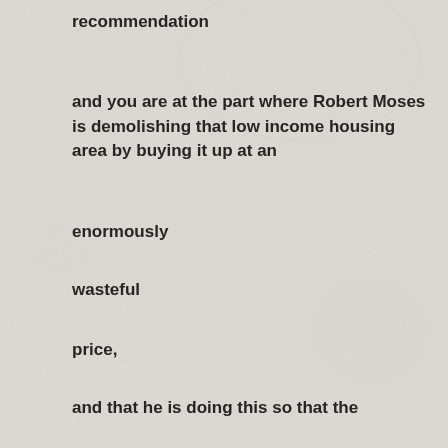recommendation
and you are at the part where Robert Moses is demolishing that low income housing area by buying it up at an
enormously
wasteful
price,
and that he is doing this so that the